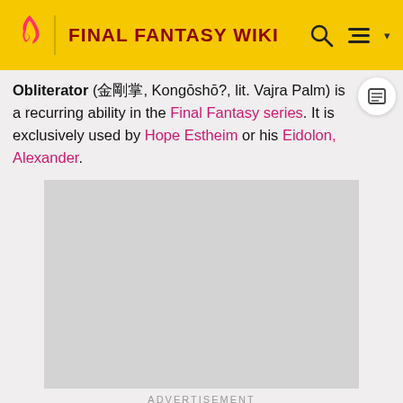FINAL FANTASY WIKI
Obliterator (金剛掌?, Kongōshō?, lit. Vajra Palm) is a recurring ability in the Final Fantasy series. It is exclusively used by Hope Estheim or his Eidolon, Alexander.
[Figure (other): Gray advertisement placeholder rectangle]
ADVERTISEMENT